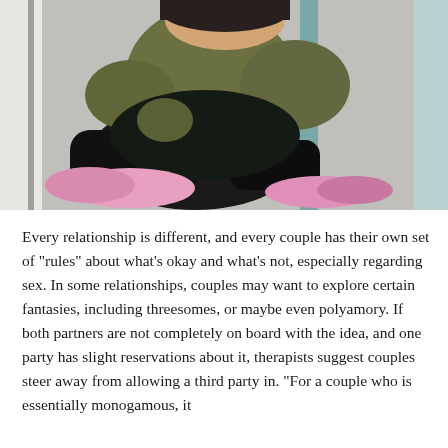[Figure (illustration): Anime/manga style illustration of a person crouching or sitting, wearing a dark olive/khaki top and black pants with pink socks/shoes, viewed from above. Background shows a light gray and teal doorway or wall.]
Every relationship is different, and every couple has their own set of "rules" about what's okay and what's not, especially regarding sex. In some relationships, couples may want to explore certain fantasies, including threesomes, or maybe even polyamory. If both partners are not completely on board with the idea, and one party has slight reservations about it, therapists suggest couples steer away from allowing a third party in. "For a couple who is essentially monogamous, it